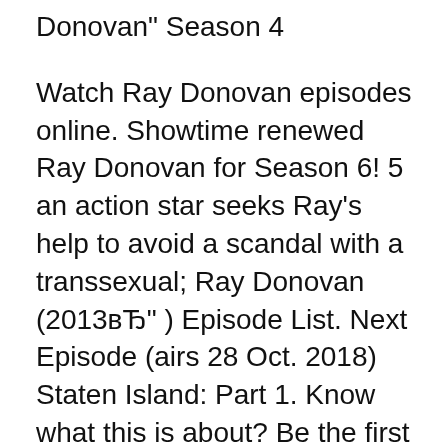Donovan" Season 4
Watch Ray Donovan episodes online. Showtime renewed Ray Donovan for Season 6! 5 an action star seeks Ray's help to avoid a scandal with a transsexual; Ray Donovan (2013вЂ” ) Episode List. Next Episode (airs 28 Oct. 2018) Staten Island: Part 1. Know what this is about? Be the first one to add a plot. Current
Instantly find any Ray Donovan full episode available from all 5 seasons Ray Donovan Full Episode Guide rent Ray Donovan on demand at ShowtimeвЂ¦ Showtime has announced the Episodes and Ray Donovan